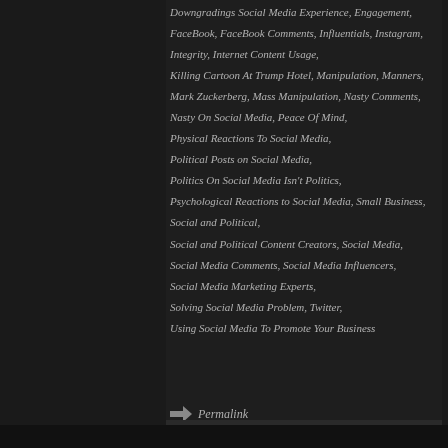Downgradings Social Media Experience, Engagement,
FaceBook, FaceBook Comments, Influentials, Instagram,
Integrity, Internet Content Usage,
Killing Cartoon At Trump Hotel, Manipulation, Manners,
Mark Zuckerberg, Mass Manipulation, Nasty Comments,
Nasty On Social Media, Peace Of Mind,
Physical Reactions To Social Media,
Political Posts on Social Media,
Politics On Social Media Isn't Politics,
Psychological Reactions to Social Media, Small Business,
Social and Political,
Social and Political Content Creators, Social Media,
Social Media Comments, Social Media Influencers,
Social Media Marketing Experts,
Solving Social Media Problem, Twitter,
Using Social Media To Promote Your Business
Permalink